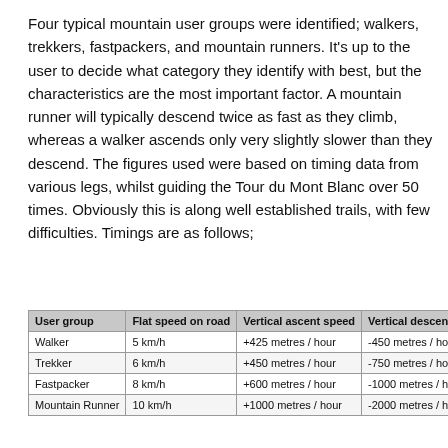Four typical mountain user groups were identified; walkers, trekkers, fastpackers, and mountain runners. It's up to the user to decide what category they identify with best, but the characteristics are the most important factor. A mountain runner will typically descend twice as fast as they climb, whereas a walker ascends only very slightly slower than they descend. The figures used were based on timing data from various legs, whilst guiding the Tour du Mont Blanc over 50 times. Obviously this is along well established trails, with few difficulties. Timings are as follows;
| User group | Flat speed on road | Vertical ascent speed | Vertical descent speed |
| --- | --- | --- | --- |
| Walker | 5 km/h | +425 metres / hour | -450 metres / hour |
| Trekker | 6 km/h | +450 metres / hour | -750 metres / hour |
| Fastpacker | 8 km/h | +600 metres / hour | -1000 metres / hour |
| Mountain Runner | 10 km/h | +1000 metres / hour | -2000 metres / hour |